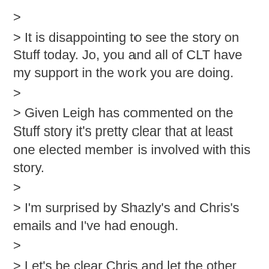>
> It is disappointing to see the story on Stuff today. Jo, you and all of CLT have my support in the work you are doing.
>
> Given Leigh has commented on the Stuff story it's pretty clear that at least one elected member is involved with this story.
>
> I'm surprised by Shazly's and Chris's emails and I've had enough.
>
> Let's be clear Chris and let the other Councillors know what took place at the Chief Executive's Employment Subcommittee meeting on the 16th of August.  You came into the meeting, requested the confidential meeting papers and copied down the survey results on a note pad verbatim. I called you out for what you were doing and you denied